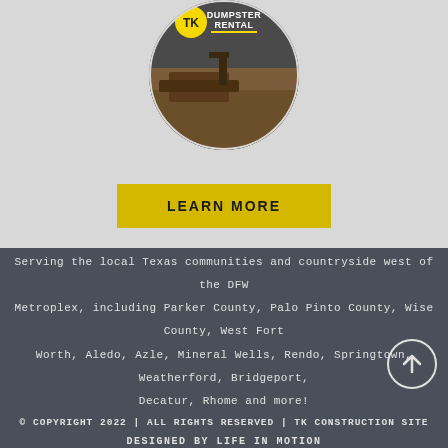[Figure (logo): Circular TK Dumpster Rental logo with yellow TK emblem and construction site background image]
LEARN MORE
Serving the local Texas communities and countryside west of the DFW Metroplex, including Parker County, Palo Pinto County, Wise County, West Fort Worth, Aledo, Azle, Mineral Wells, Rendo, Springtown, Weatherford, Bridgeport, Decatur, Rhome and more!
© COPYRIGHT 2022 | ALL RIGHTS RESERVED | TK CONSTRUCTION SITE

DESIGNED BY LIFE IN MOTION